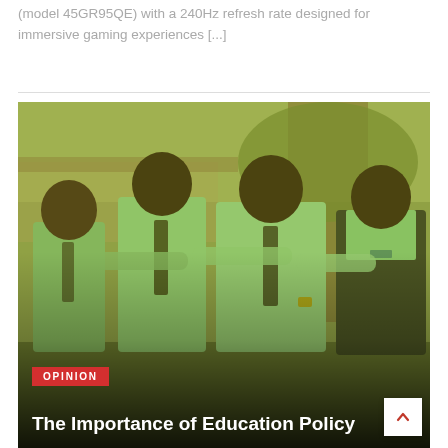(model 45GR95QE) with a 240Hz refresh rate designed for immersive gaming experiences [...]
[Figure (photo): Four school-aged boys in green uniforms and striped ties, arms around each other, smiling, with a yellow-green color overlay on the photo. Taken outdoors near a tree.]
OPINION
The Importance of Education Policy